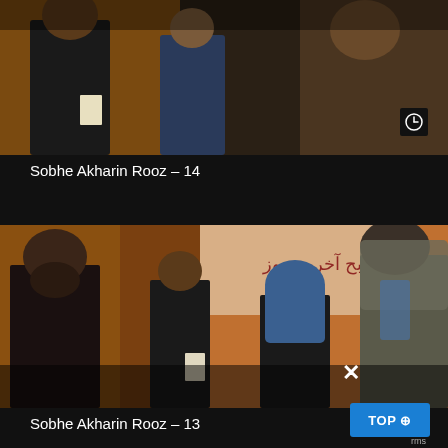[Figure (photo): Partially cropped photo of a TV drama scene showing people standing indoors, with a white paper visible. Iranian drama still.]
Sobhe Akharin Rooz – 14
[Figure (photo): Photo showing four people from the Iranian TV drama 'Sobhe Akharin Rooz' (Morning of the Last Day), with Persian title calligraphy on a banner in background. People include a bearded man in dark clothing on left, a young man in center-left, a woman in blue hijab center-right, and a woman in gray hijab on far right.]
Sobhe Akharin Rooz – 13